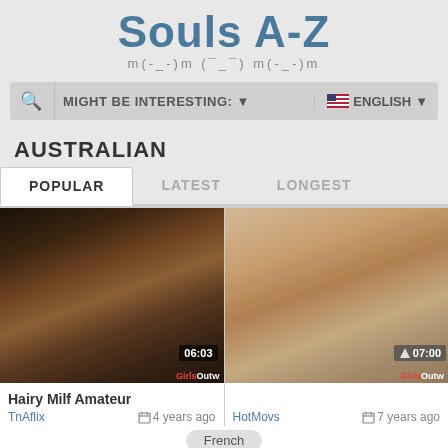Souls A-Z
m(-_-)m (¯_¯) m(-_-)m
MIGHT BE INTERESTING: ▼   🇺🇸 ENGLISH ▼
AUSTRALIAN
POPULAR  LATEST  LONGEST
[Figure (photo): Video thumbnail: Hairy Milf Amateur, duration 06:03, source GirlsOut]
[Figure (photo): Video thumbnail: duration 07:00, source GirlsOut]
Hairy Milf Amateur
TnAflix   4 years ago
HotMovs   7 years ago
French